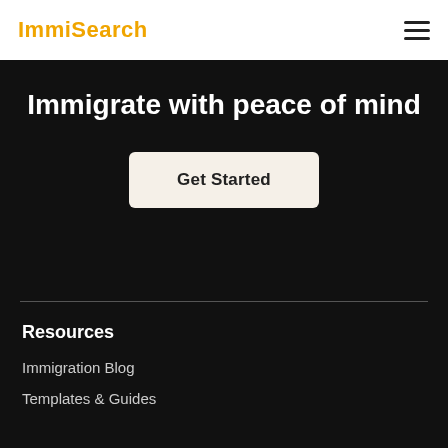ImmiSearch
Immigrate with peace of mind
Get Started
Resources
Immigration Blog
Templates & Guides